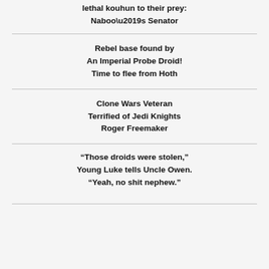lethal kouhun to their prey:
Naboo's Senator
Rebel base found by
An Imperial Probe Droid!
Time to flee from Hoth
Clone Wars Veteran
Terrified of Jedi Knights
Roger Freemaker
“Those droids were stolen,”
Young Luke tells Uncle Owen.
“Yeah, no shit nephew.”